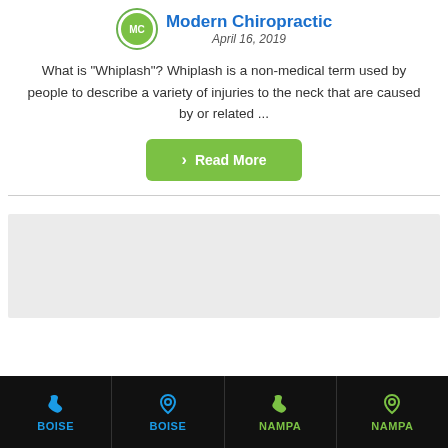Modern Chiropractic
April 16, 2019
What is "Whiplash"? Whiplash is a non-medical term used by people to describe a variety of injuries to the neck that are caused by or related ...
Read More
[Figure (map): Embedded map area placeholder (light gray background)]
BOISE | BOISE | NAMPA | NAMPA